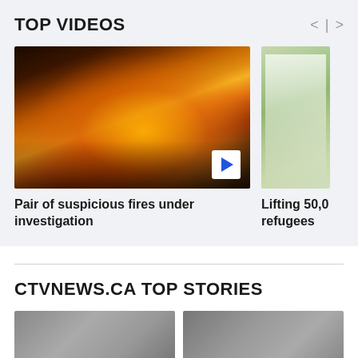TOP VIDEOS
[Figure (photo): Video thumbnail showing a house fire at night with flames and smoke, people visible in foreground]
Pair of suspicious fires under investigation
[Figure (photo): Partial video thumbnail showing an outdoor tent/canopy setup on a lawn]
Lifting 50,0... refugees
CTVNEWS.CA TOP STORIES
[Figure (photo): Partial news story thumbnail showing faces]